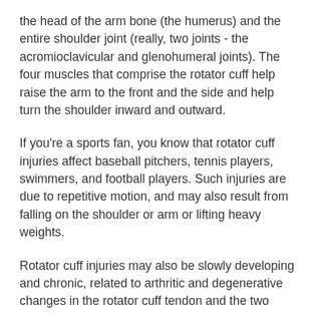the head of the arm bone (the humerus) and the entire shoulder joint (really, two joints - the acromioclavicular and glenohumeral joints). The four muscles that comprise the rotator cuff help raise the arm to the front and the side and help turn the shoulder inward and outward.
If you're a sports fan, you know that rotator cuff injuries affect baseball pitchers, tennis players, swimmers, and football players. Such injuries are due to repetitive motion, and may also result from falling on the shoulder or arm or lifting heavy weights.
Rotator cuff injuries may also be slowly developing and chronic, related to arthritic and degenerative changes in the rotator cuff tendon and the two shoulder joints. Low-grade pain may develop, and the pain may become aching, throbbing, and chronic. Raising the arm may cause pain, also...